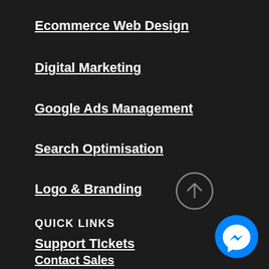Ecommerce Web Design
Digital Marketing
Google Ads Management
Search Optimisation
Logo & Branding
QUICK LINKS
Support TIckets
Contact Sales
Terms & Conditions
[Figure (illustration): Scroll to top button — circle with upward arrow]
[Figure (illustration): Facebook Messenger chat button — blue circle with messenger lightning bolt icon]